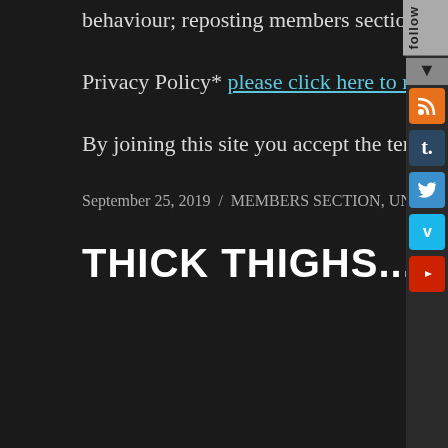behaviour; reposting members section content outside of the Aussie Space Time Traveller website.
Privacy Policy* please click here to read our privacy policy.
By joining this site you accept the terms and conditions of membership and policies outlined above.
September 25, 2019 / MEMBERS SECTION, UNDIE LOVERS / fetish, kink, lace, panties, underwear / 2 Comments
THICK THIGHS...